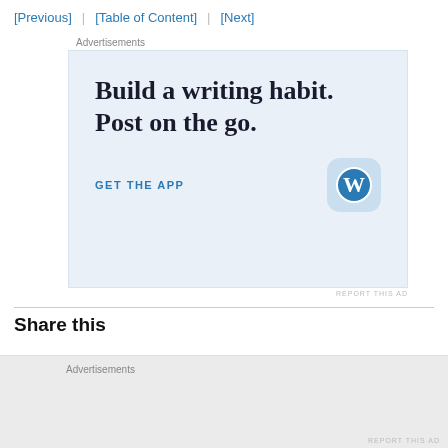[Previous] | [Table of Content] | [Next]
Advertisements
[Figure (illustration): WordPress app advertisement showing 'Build a writing habit. Post on the go.' with a GET THE APP call to action and the WordPress logo (blue W in a blue-tinted rounded square).]
REPORT THIS AD
Share this
Advertisements
REPORT THIS AD